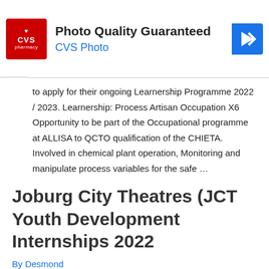[Figure (logo): CVS Pharmacy advertisement banner with logo, 'Photo Quality Guaranteed' headline, 'CVS Photo' link, and blue navigation arrow icon]
to apply for their ongoing Learnership Programme 2022 / 2023. Learnership: Process Artisan Occupation X6 Opportunity to be part of the Occupational programme at ALLISA to QCTO qualification of the CHIETA. Involved in chemical plant operation, Monitoring and manipulate process variables for the safe …
Read More »
Joburg City Theatres (JCT Youth Development Internships 2022
By Desmond
Joburg City Theatres (JCT) is inviting applications for their...